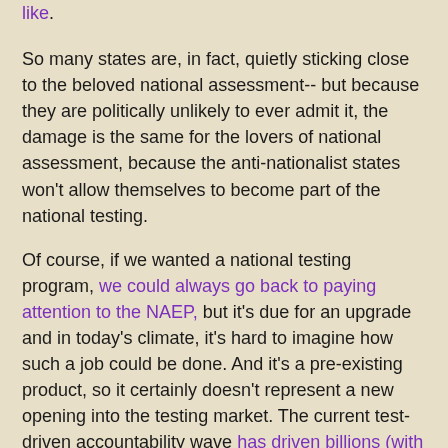like.
So many states are, in fact, quietly sticking close to the beloved national assessment-- but because they are politically unlikely to ever admit it, the damage is the same for the lovers of national assessment, because the anti-nationalist states won't allow themselves to become part of the national testing.
Of course, if we wanted a national testing program, we could always go back to paying attention to the NAEP, but it's due for an upgrade and in today's climate, it's hard to imagine how such a job could be done. And it's a pre-existing product, so it certainly doesn't represent a new opening into the testing market. The current test-driven accountability wave has driven billions (with a b) of dollars into test corporation coffers. But the dream of one simple open market has fallen apart. Pearson and AIR and the rest have been forced to do business the old, messy way.
So we can't compare the students of Idaho to the students of Florida. We can't stack-rank the schools of Pennsylvania